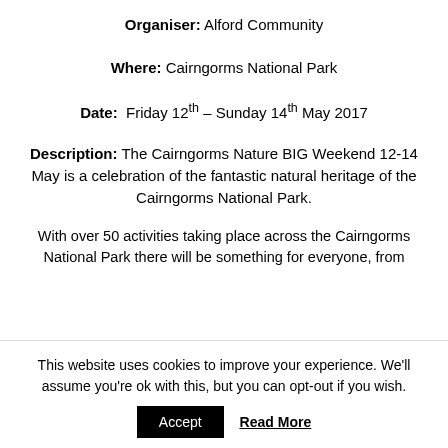Organiser: Alford Community
Where: Cairngorms National Park
Date: Friday 12th – Sunday 14th May 2017
Description: The Cairngorms Nature BIG Weekend 12-14 May is a celebration of the fantastic natural heritage of the Cairngorms National Park.
With over 50 activities taking place across the Cairngorms National Park there will be something for everyone, from
This website uses cookies to improve your experience. We'll assume you're ok with this, but you can opt-out if you wish.